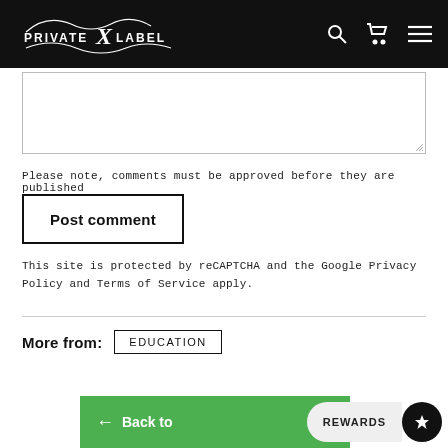PRIVATE X LABEL
[Figure (screenshot): Empty textarea input box with resize handle in bottom-right corner]
Please note, comments must be approved before they are published
[Figure (other): Post comment button with black border]
This site is protected by reCAPTCHA and the Google Privacy Policy and Terms of Service apply.
More from: EDUCATION
[Figure (other): Green Back to bar with arrow and Rewards button with dark circle icon]